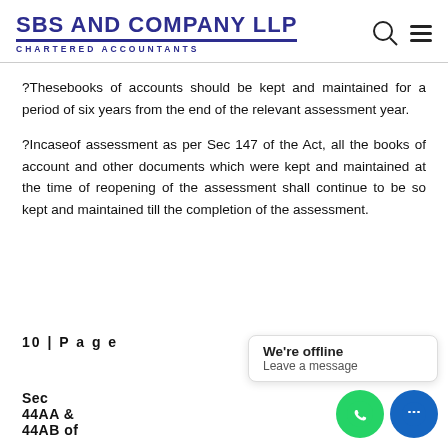SBS AND COMPANY LLP CHARTERED ACCOUNTANTS
?Thesebooks of accounts should be kept and maintained for a period of six years from the end of the relevant assessment year.
?Incaseof assessment as per Sec 147 of the Act, all the books of account and other documents which were kept and maintained at the time of reopening of the assessment shall continue to be so kept and maintained till the completion of the assessment.
10 | P a g e
Sec
44AA &
44AB of